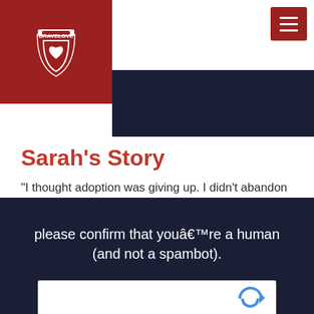BRAVELOVE
Sarah's Story
"I thought adoption was giving up. I didn't abandon my son... I chose what was best for him." Watch as Sarah and the family she placed with, share an honest portrayal of not only the struggle, but also the joy and beauty that has come from their open adoption.
please confirm that youâ€™re a human (and not a spambot).